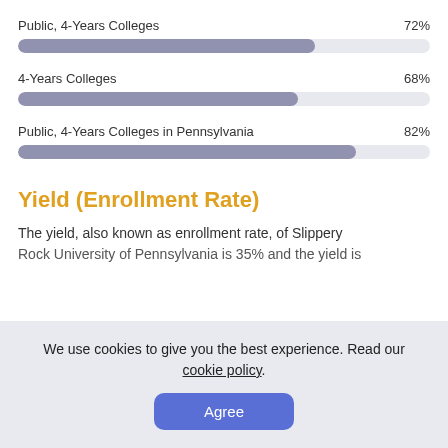[Figure (bar-chart): Acceptance Rate Comparison]
Yield (Enrollment Rate)
The yield, also known as enrollment rate, of Slippery Rock University of Pennsylvania is 35% and the yield is
We use cookies to give you the best experience. Read our cookie policy.